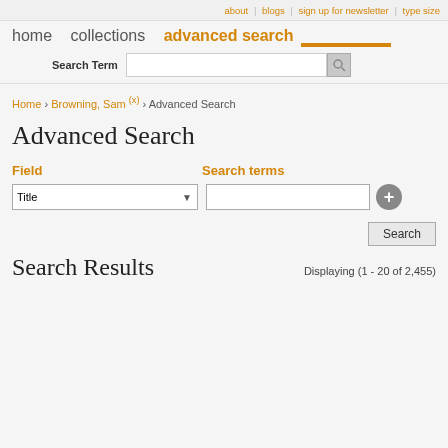about | blogs | sign up for newsletter | type size
home  collections  advanced search
Search Term
Home › Browning, Sam (x) › Advanced Search
Advanced Search
Field
Search terms
Title [dropdown]
Search
Search Results
Displaying (1 - 20 of 2,455)